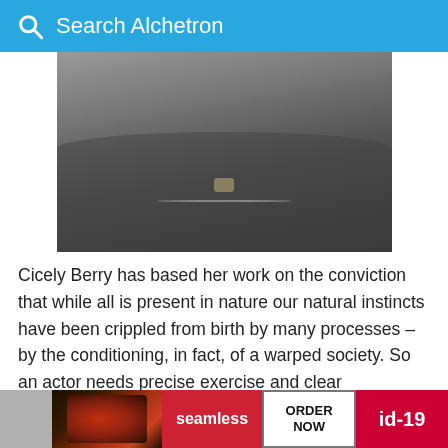Search Alchetron
[Figure (photo): Photo of a person (partially visible, from neck/chest down) wearing a blazer with a chain necklace and a brooch, cropped screenshot of Alchetron web page]
Cicely Berry has based her work on the conviction that while all is present in nature our natural instincts have been crippled from birth by many processes – by the conditioning, in fact, of a warped society. So an actor needs precise exercise and clear understanding to liberate his hidden possibilities and to learn the hard task of being true to ‘the instinct of the moment’.
[Figure (screenshot): Advertisement banner showing food photo on left, 'seamless' red button in center, 'ORDER NOW' button, and 'id-19' text on red background on right]